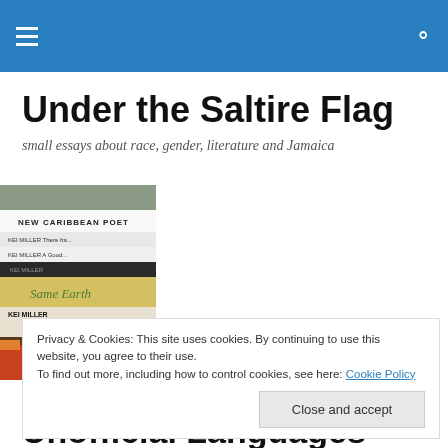Under the Saltire Flag
small essays about race, gender, literature and Jamaica
[Figure (photo): A stack of books including titles by Kei Miller such as 'New Caribbean Poetry', 'The Last War', 'The Same Earth', and others]
Privacy & Cookies: This site uses cookies. By continuing to use this website, you agree to their use.
To find out more, including how to control cookies, see here: Cookie Policy
Unofficial Languages